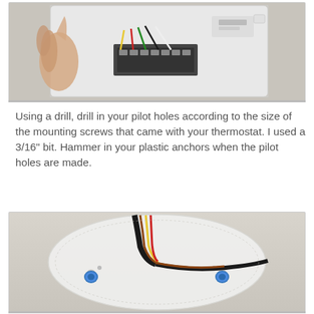[Figure (photo): Photo of a hand holding the back of a white thermostat, showing wiring terminals and colored wires being connected.]
Using a drill, drill in your pilot holes according to the size of the mounting screws that came with your thermostat.  I used a 3/16" bit.  Hammer in your plastic anchors when the pilot holes are made.
[Figure (photo): Photo of a wall-mounted thermostat base plate showing colored wires coming out of the wall and two blue plastic anchor inserts visible in the drilled pilot holes.]